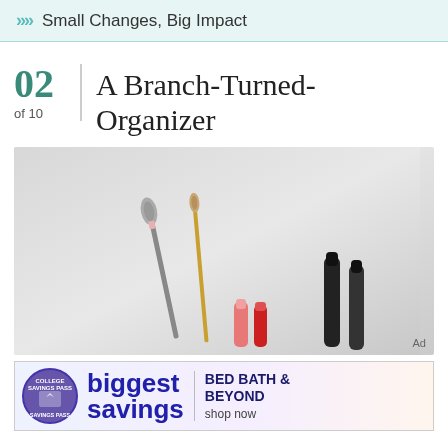Small Changes, Big Impact
02 of 10 | A Branch-Turned-Organizer
[Figure (photo): Photo of makeup brushes and cosmetic tools (mascara wands, lip pencils, eye shadow brush with pink and red caps) arranged in a branch organizer against a light grey background. Bottom right corner shows 'Ad' label.]
[Figure (other): Advertisement banner for Bed Bath & Beyond College Savings Pass: 'biggest savings' text with circular badge on left, 'BED BATH & BEYOND shop now' text on right.]